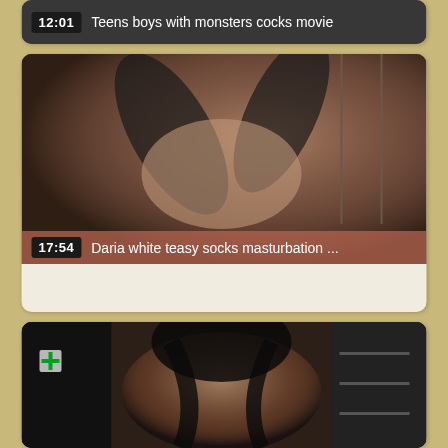[Figure (screenshot): Video thumbnail card 1: dark overlay bar with timestamp 12:01 and title 'Teens boys with monsters cocks movie']
[Figure (screenshot): Video thumbnail card 2: photo of a woman in black stockings, with overlay bar showing timestamp 17:54 and title 'Daria white teasy socks masturbation ...']
[Figure (screenshot): Video thumbnail card 3: photo of a woman with dark hair, partial view, dark background]